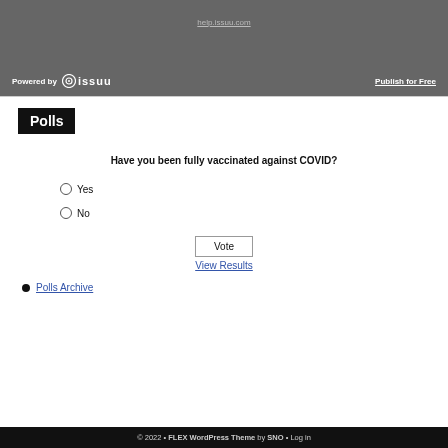[Figure (other): Issuu embedded content bar with help.issuu.com link, Powered by Issuu logo, and Publish for Free link]
Polls
Have you been fully vaccinated against COVID?
Yes
No
Vote
View Results
Polls Archive
© 2022 • FLEX WordPress Theme by SNO • Log in